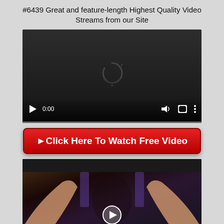#6439 Great and feature-length Highest Quality Video Streams from our Site
[Figure (screenshot): Video player UI with dark background, loading spinner arc, playback controls showing 0:00 timestamp, volume icon, fullscreen icon, and options icon with progress bar at bottom]
▶Click Here To Watch Free Video
[Figure (screenshot): Video thumbnail showing partial content with dark top bar and play button overlay at bottom center]